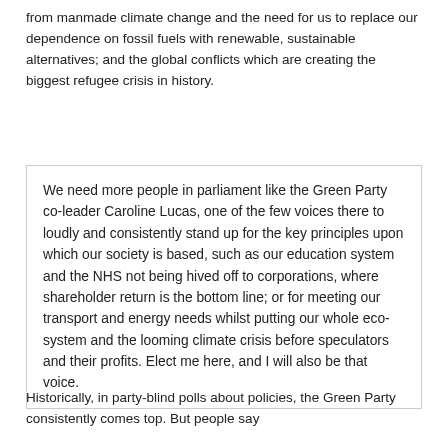from manmade climate change and the need for us to replace our dependence on fossil fuels with renewable, sustainable alternatives; and the global conflicts which are creating the biggest refugee crisis in history.
We need more people in parliament like the Green Party co-leader Caroline Lucas, one of the few voices there to loudly and consistently stand up for the key principles upon which our society is based, such as our education system and the NHS not being hived off to corporations, where shareholder return is the bottom line; or for meeting our transport and energy needs whilst putting our whole eco-system and the looming climate crisis before speculators and their profits. Elect me here, and I will also be that voice.
Historically, in party-blind polls about policies, the Green Party consistently comes top. But people say